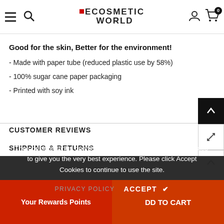ECOSMETIC WORLD — navigation header with hamburger menu, search, logo, user icon, cart (0)
Good for the skin, Better for the environment!
- Made with paper tube (reduced plastic use by 58%)
- 100% sugar cane paper packaging
- Printed with soy ink
CUSTOMER REVIEWS
SHIPPING & RETURNS
The cookie settings on this website are set to 'allow all cookies' to give you the very best experience. Please click Accept Cookies to continue to use the site.
PRIVACY POLICY   ACCEPT ✔
Your Rewards Points   DD TO CART